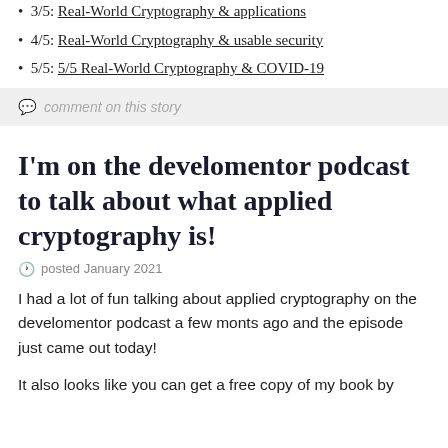3/5: Real-World Cryptography & applications
4/5: Real-World Cryptography & usable security
5/5: 5/5 Real-World Cryptography & COVID-19
comment on this story
I'm on the develomentor podcast to talk about what applied cryptography is!
posted January 2021
I had a lot of fun talking about applied cryptography on the develomentor podcast a few monts ago and the episode just came out today!
It also looks like you can get a free copy of my book by